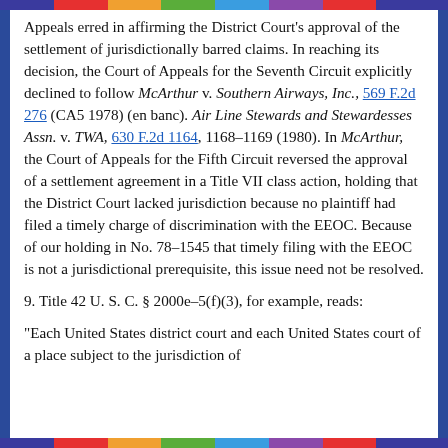Appeals erred in affirming the District Court's approval of the settlement of jurisdictionally barred claims. In reaching its decision, the Court of Appeals for the Seventh Circuit explicitly declined to follow McArthur v. Southern Airways, Inc., 569 F.2d 276 (CA5 1978) (en banc). Air Line Stewards and Stewardesses Assn. v. TWA, 630 F.2d 1164, 1168-1169 (1980). In McArthur, the Court of Appeals for the Fifth Circuit reversed the approval of a settlement agreement in a Title VII class action, holding that the District Court lacked jurisdiction because no plaintiff had filed a timely charge of discrimination with the EEOC. Because of our holding in No. 78-1545 that timely filing with the EEOC is not a jurisdictional prerequisite, this issue need not be resolved.
9. Title 42 U. S. C. § 2000e-5(f)(3), for example, reads:
"Each United States district court and each United States court of a place subject to the jurisdiction of